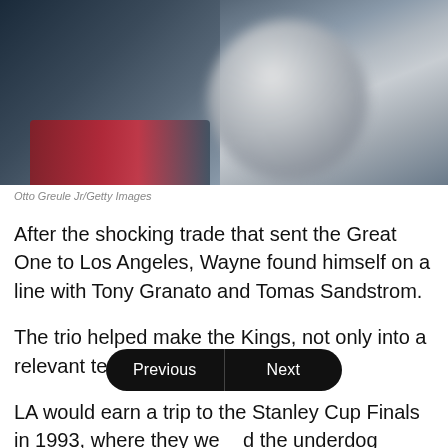[Figure (photo): Blurred/out-of-focus sports photo with dark background and red jersey visible at bottom left]
Otto Greule Jr/Getty Images
After the shocking trade that sent the Great One to Los Angeles, Wayne found himself on a line with Tony Granato and Tomas Sandstrom.
The trio helped make the Kings, not only into a relevant team, but into a good one.
LA would earn a trip to the Stanley Cup Finals in 1993, where they we[Previous][Next]d the underdog Montreal Canadiens.